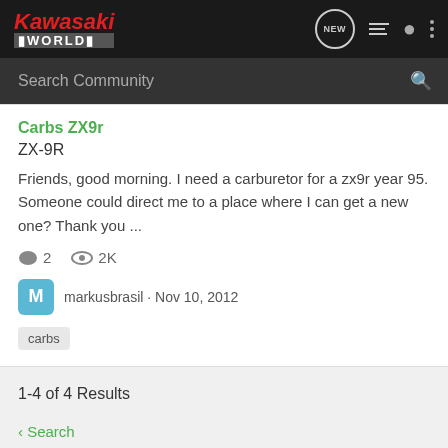Kawasaki WORLD — navigation bar with search
Carbs ZX9r
ZX-9R
Friends, good morning. I need a carburetor for a zx9r year 95. Someone could direct me to a place where I can get a new one? Thank you ...
2  2K
markusbrasil · Nov 10, 2012
carbs
1-4 of 4 Results
Search